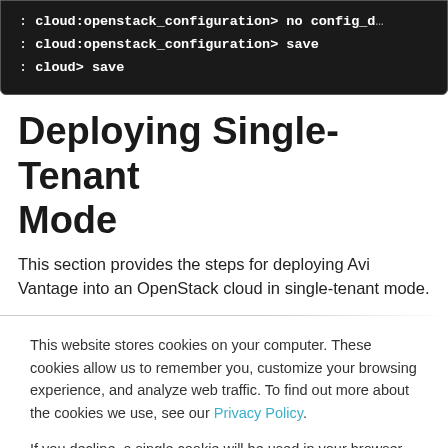[Figure (screenshot): Terminal/code block showing commands: ': cloud:openstack_configuration> no config_d...' (truncated), ': cloud:openstack_configuration> save', ': cloud> save']
Deploying Single-Tenant Mode
This section provides the steps for deploying Avi Vantage into an OpenStack cloud in single-tenant mode.
This website stores cookies on your computer. These cookies allow us to remember you, customize your browsing experience, and analyze web traffic. To find out more about the cookies we use, see our Privacy Policy.

If you decline, a single cookie will be used in your browser to remember your preference not to be tracked.